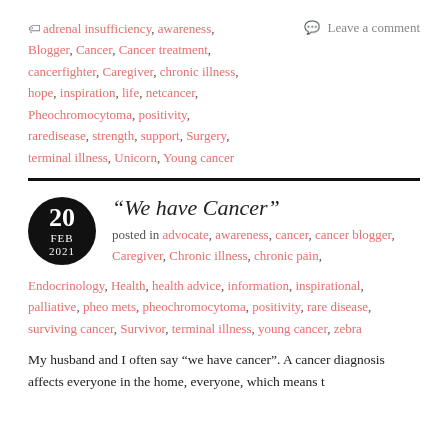adrenal insufficiency, awareness, Blogger, Cancer, Cancer treatment, cancerfighter, Caregiver, chronic illness, hope, inspiration, life, netcancer, Pheochromocytoma, positivity, raredisease, strength, support, Surgery, terminal illness, Unicorn, Young cancer
Leave a comment
“We have Cancer”
posted in advocate, awareness, cancer, cancer blogger, Caregiver, Chronic illness, chronic pain, Endocrinology, Health, health advice, information, inspirational, palliative, pheo mets, pheochromocytoma, positivity, rare disease, surviving cancer, Survivor, terminal illness, young cancer, zebra
My husband and I often say “we have cancer”. A cancer diagnosis affects everyone in the home, everyone, which means t...